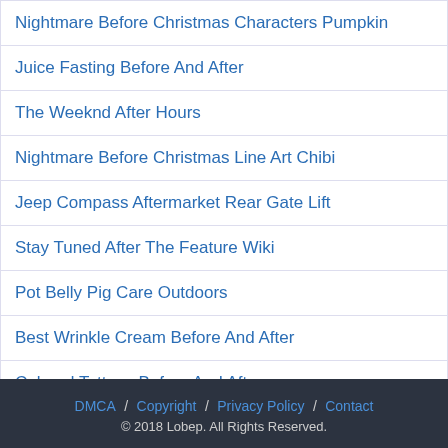Nightmare Before Christmas Characters Pumpkin
Juice Fasting Before And After
The Weeknd After Hours
Nightmare Before Christmas Line Art Chibi
Jeep Compass Aftermarket Rear Gate Lift
Stay Tuned After The Feature Wiki
Pot Belly Pig Care Outdoors
Best Wrinkle Cream Before And After
Colored Tattoos Before And After
DMCA / Copyright / Privacy Policy / Contact © 2018 Lobep. All Rights Reserved.